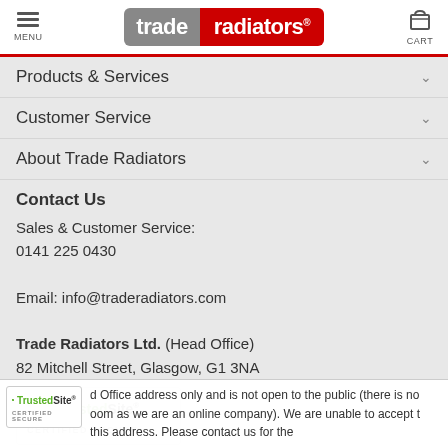MENU | trade radiators | CART
Products & Services
Customer Service
About Trade Radiators
Contact Us
Sales & Customer Service:
0141 225 0430

Email: info@traderadiators.com

Trade Radiators Ltd. (Head Office)
82 Mitchell Street, Glasgow, G1 3NA
[Figure (logo): TrustedSite Certified Secure badge]
d Office address only and is not open to the public (there is no oom as we are an online company). We are unable to accept t this address. Please contact us for the